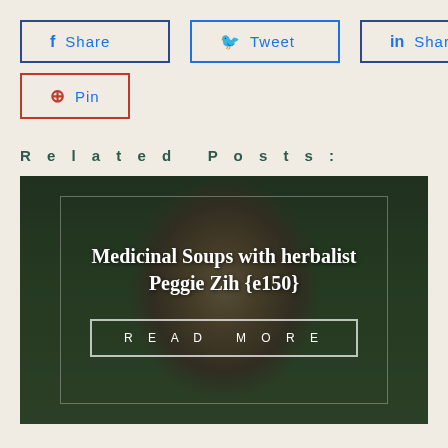f Share
Tweet
in Share
Pin
Related Posts:
[Figure (photo): A person with dark hair wearing a colorful scarf, photographed outdoors with green forested hills in the background. Dark overlay applied. Overlaid text reads 'Medicinal Soups with herbalist Peggie Zih {e150}' with a READ MORE button.]
Medicinal Soups with herbalist Peggie Zih {e150}